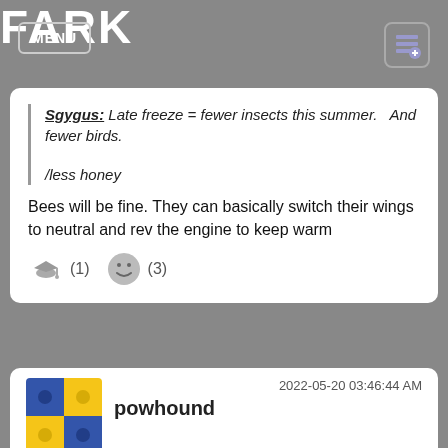FARK
Sgygus: Late freeze = fewer insects this summer.   And fewer birds.
/less honey
Bees will be fine. They can basically switch their wings to neutral and rev the engine to keep warm
(1)  (3)
2022-05-20 03:46:44 AM
powhound
Denver's dumb cousin to the west (Salt Lake) is getting a bit of